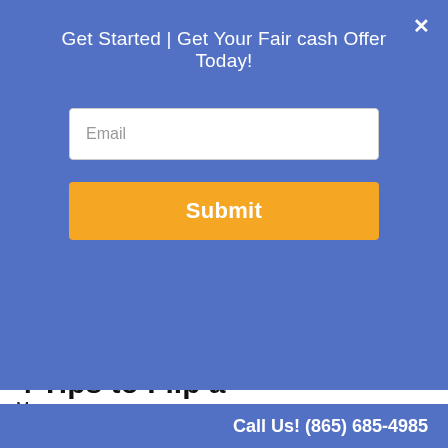Get Started | Get Your Fair cash Offer Today!
Email
Submit
[Figure (logo): Tennessee Property-Buyers logo with house and money illustration. Text: TENNESSEEPROPERTY-BUYERS www.tnpropertyliquidators.com]
Menu ▼
4 Tips to Flip a House in Knoxville
Call Us! (865) 685-4985